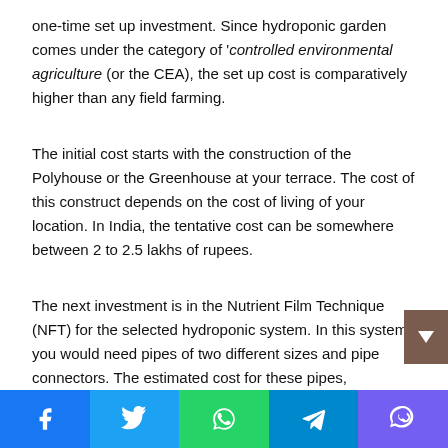one-time set up investment. Since hydroponic garden comes under the category of 'controlled environmental agriculture (or the CEA), the set up cost is comparatively higher than any field farming.
The initial cost starts with the construction of the Polyhouse or the Greenhouse at your terrace. The cost of this construct depends on the cost of living of your location. In India, the tentative cost can be somewhere between 2 to 2.5 lakhs of rupees.
The next investment is in the Nutrient Film Technique (NFT) for the selected hydroponic system. In this system, you would need pipes of two different sizes and pipe connectors. The estimated cost for these pipes, connectors and the entire frame would be around 50 to 60 lakhs. This facility will
Facebook Twitter WhatsApp Telegram Viber